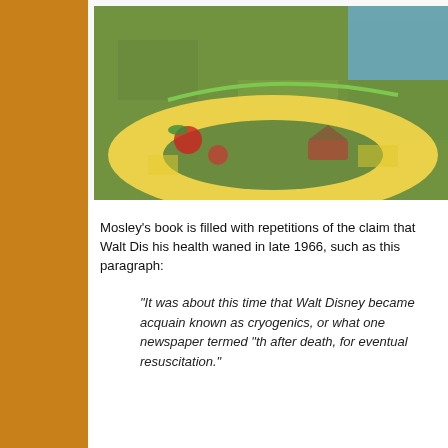[Figure (photo): Cropped photo showing a yellow inflatable ring/pool float with colorful printed designs (boats, watermelons) lying on green grass. Part of a child or person in blue clothing is visible at the top.]
Mosley's book is filled with repetitions of the claim that Walt Disney became interested in cryogenics as his health waned in late 1966, such as this paragraph:
"It was about this time that Walt Disney became acquainted with the science known as cryogenics, or what one newspaper termed "th... after death, for eventual resuscitation."